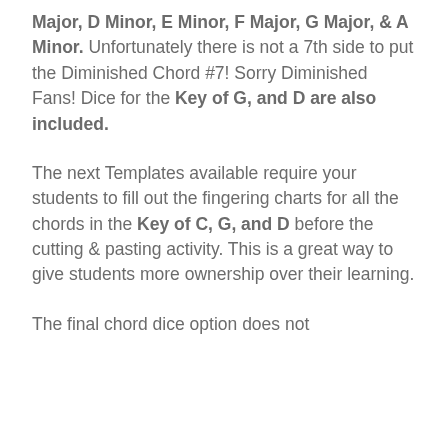Major, D Minor, E Minor, F Major, G Major, & A Minor. Unfortunately there is not a 7th side to put the Diminished Chord #7! Sorry Diminished Fans! Dice for the Key of G, and D are also included.
The next Templates available require your students to fill out the fingering charts for all the chords in the Key of C, G, and D before the cutting & pasting activity. This is a great way to give students more ownership over their learning.
The final chord dice option does not